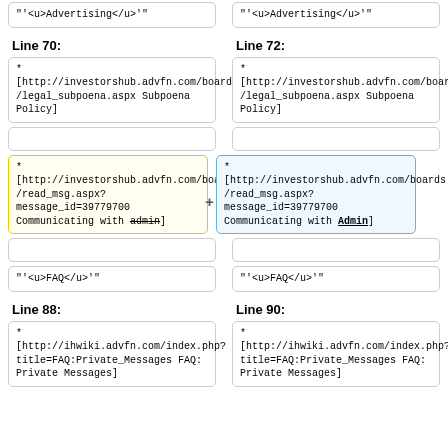"'<u>Advertising</u>'"
"'<u>Advertising</u>'"
Line 70:
Line 72:
*
[http://investorshub.advfn.com/boards/legal_subpoena.aspx Subpoena Policy]
*
[http://investorshub.advfn.com/boards/legal_subpoena.aspx Subpoena Policy]
*
[http://investorshub.advfn.com/boards/read_msg.aspx?message_id=39779700 Communicating with admin]
*
[http://investorshub.advfn.com/boards/read_msg.aspx?message_id=39779700 Communicating with Admin]
"'<u>FAQ</u>'"
"'<u>FAQ</u>'"
Line 88:
Line 90:
*[http://ihwiki.advfn.com/index.php?title=FAQ:Private_Messages FAQ: Private Messages]
*[http://ihwiki.advfn.com/index.php?title=FAQ:Private_Messages FAQ: Private Messages]